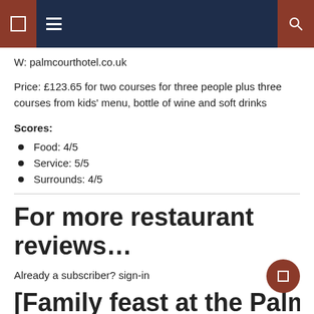Navigation bar with hamburger menu and search icon
W: palmcourthotel.co.uk
Price: £123.65 for two courses for three people plus three courses from kids' menu, bottle of wine and soft drinks
Scores:
Food: 4/5
Service: 5/5
Surrounds: 4/5
For more restaurant reviews…
Already a subscriber? sign-in
[Family feast at the Palm